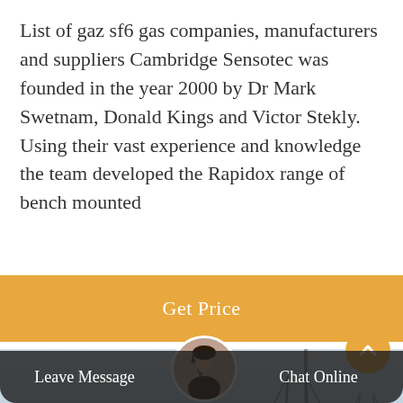List of gaz sf6 gas companies, manufacturers and suppliers Cambridge Sensotec was founded in the year 2000 by Dr Mark Swetnam, Donald Kings and Victor Stekly. Using their vast experience and knowledge the team developed the Rapidox range of bench mounted
[Figure (other): Orange 'Get Price' button]
[Figure (photo): Photo of an industrial vehicle/truck in front of electrical transmission towers/pylons under a light sky]
[Figure (other): Bottom navigation bar with 'Leave Message' on the left, a customer service representative avatar in the center, and 'Chat Online' on the right, on a dark semi-transparent background]